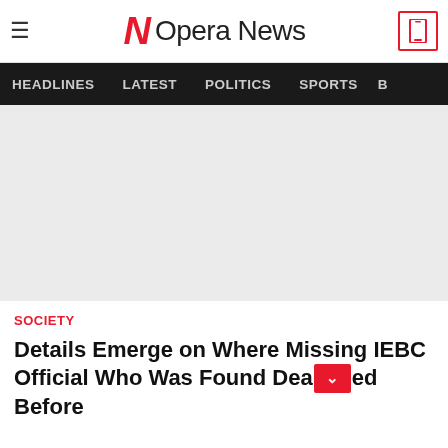Opera News
HEADLINES | LATEST | POLITICS | SPORTS
[Figure (photo): Article image placeholder — light grey rectangle]
SOCIETY
Details Emerge on Where Missing IEBC Official Who Was Found Dead [button] Before